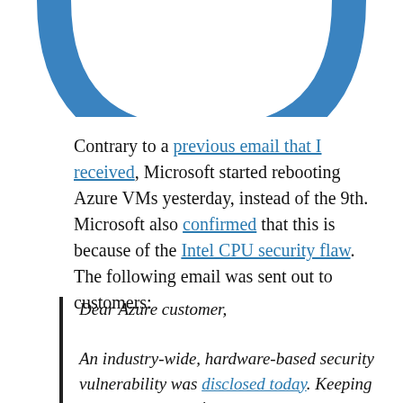[Figure (logo): Partial blue arc/circle logo visible at top of page, cropped — showing lower portion of a circular blue shape]
Contrary to a previous email that I received, Microsoft started rebooting Azure VMs yesterday, instead of the 9th. Microsoft also confirmed that this is because of the Intel CPU security flaw. The following email was sent out to customers:
Dear Azure customer,

An industry-wide, hardware-based security vulnerability was disclosed today. Keeping customers secure is